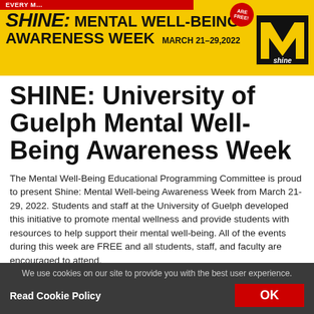[Figure (infographic): Yellow banner for SHINE: Mental Well-Being Awareness Week, March 21-29, 2022, with red top bar, bold black text, a red free badge, and a shine logo on the right]
SHINE: University of Guelph Mental Well-Being Awareness Week
The Mental Well-Being Educational Programming Committee is proud to present Shine: Mental Well-being Awareness Week from March 21-29, 2022. Students and staff at the University of Guelph developed this initiative to promote mental wellness and provide students with resources to help support their mental well-being. All of the events during this week are FREE and all students, staff, and faculty are encouraged to attend.
We use cookies on our site to provide you with the best user experience.
Read Cookie Policy
OK